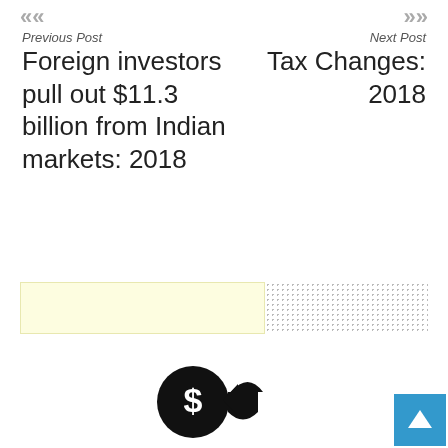Previous Post
Next Post
Foreign investors pull out $11.3 billion from Indian markets: 2018
Tax Changes: 2018
[Figure (illustration): Dollar coin with arrow refund icon and person silhouette below]
[Figure (illustration): Blue back-to-top button with upward arrow]